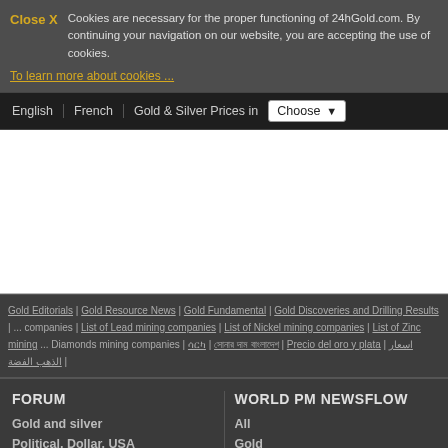Close X   Cookies are necessary for the proper functioning of 24hGold.com. By continuing your navigation on our website, you are accepting the use of cookies.
To learn more about cookies ...
English | French | Gold & Silver Prices in | Choose
[Figure (other): White content/advertisement area]
Gold Editorials | Gold Resource News | Gold Fundamental | Gold Discoveries and Drilling Results | ... companies | List of Lead mining companies | List of Nickel mining companies | List of Zinc mining ... Diamonds mining companies | ... | Precio del oro y plata | اسعار الذهب الفضة |
FORUM
Gold and silver
Political, Dollar, USA
It's nice to talk about...
Physical Gold and Silver
WORLD PM NEWSFLOW
All
Gold
Silver
Copper